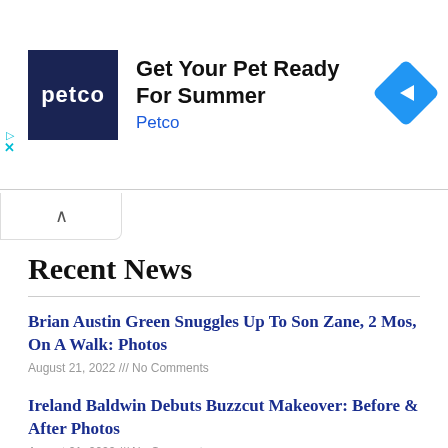[Figure (screenshot): Petco advertisement banner: dark blue Petco logo square on left, 'Get Your Pet Ready For Summer' headline text, 'Petco' brand name in blue below, blue diamond arrow icon on right, cyan play/close controls on far left]
Recent News
Brian Austin Green Snuggles Up To Son Zane, 2 Mos, On A Walk: Photos
August 21, 2022 /// No Comments
Ireland Baldwin Debuts Buzzcut Makeover: Before & After Photos
August 21, 2022 /// No Comments
Inside Jennifer Lopez and Ben Affleck's Lavish Wedding Celebration in Georgia